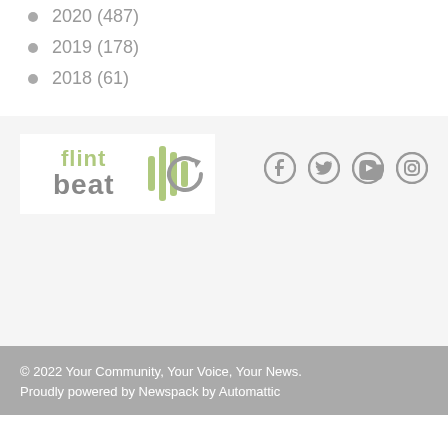2020 (487)
2019 (178)
2018 (61)
[Figure (logo): Flint Beat logo with sound wave and circular arrow icon, plus social media icons for Facebook, Twitter, YouTube, and Instagram]
© 2022 Your Community, Your Voice, Your News.
Proudly powered by Newspack by Automattic